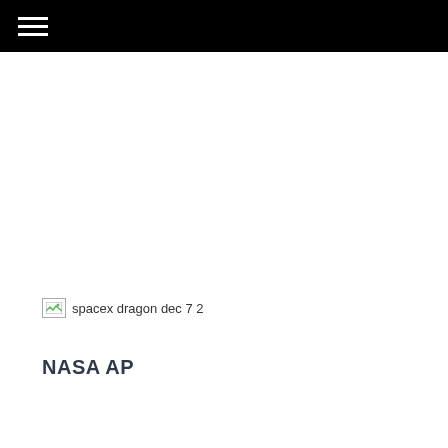[Figure (photo): Broken image placeholder with alt text 'spacex dragon dec 7 2']
NASA AP